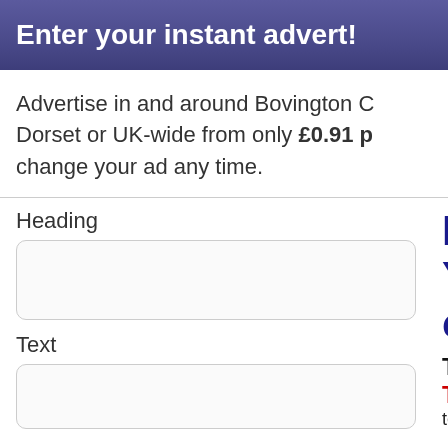Enter your instant advert!
Advertise in and around Bovington C, Dorset or UK-wide from only £0.91 p, change your ad any time.
Heading
Text
He
Yo
or
Text
Tip!
text